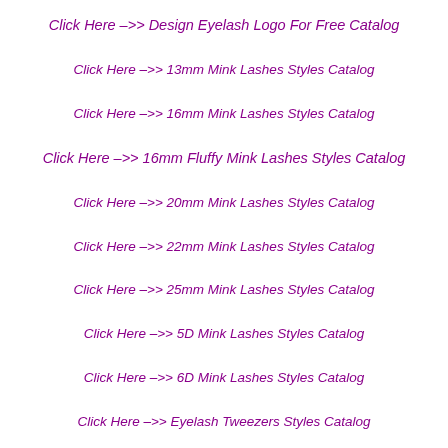Click Here –>> Design Eyelash Logo For Free Catalog
Click Here –>> 13mm Mink Lashes Styles Catalog
Click Here –>> 16mm Mink Lashes Styles Catalog
Click Here –>> 16mm Fluffy Mink Lashes Styles Catalog
Click Here –>> 20mm Mink Lashes Styles Catalog
Click Here –>> 22mm Mink Lashes Styles Catalog
Click Here –>> 25mm Mink Lashes Styles Catalog
Click Here –>> 5D Mink Lashes Styles Catalog
Click Here –>> 6D Mink Lashes Styles Catalog
Click Here –>> Eyelash Tweezers Styles Catalog